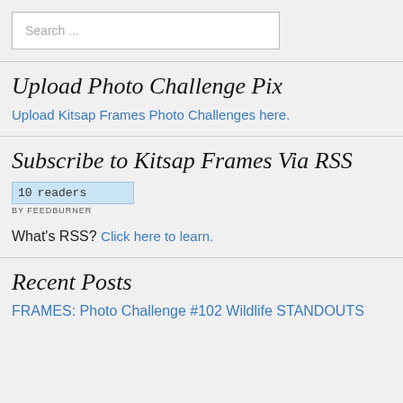Search ...
Upload Photo Challenge Pix
Upload Kitsap Frames Photo Challenges here.
Subscribe to Kitsap Frames Via RSS
[Figure (other): FeedBurner widget showing 10 readers, BY FEEDBURNER]
What's RSS? Click here to learn.
Recent Posts
FRAMES: Photo Challenge #102 Wildlife STANDOUTS